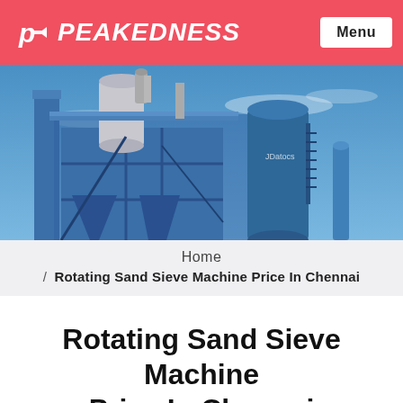PEAKEDNESS  Menu
[Figure (photo): Large industrial blue asphalt or sand processing plant with silos, conveyors, cylinders and structural steel framework against a blue sky]
Home
/ Rotating Sand Sieve Machine Price In Chennai
Rotating Sand Sieve Machine Price In Chennai